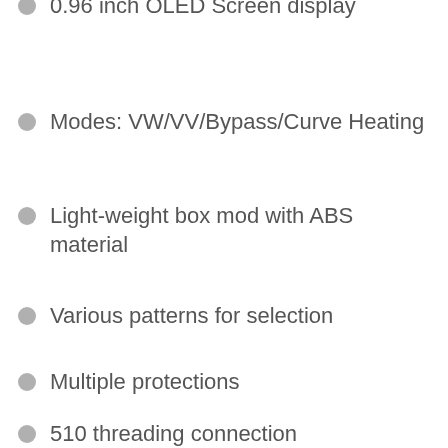0.96 inch OLED Screen display
Modes: VW/VV/Bypass/Curve Heating
Light-weight box mod with ABS material
Various patterns for selection
Multiple protections
510 threading connection
Micro-USB charging port